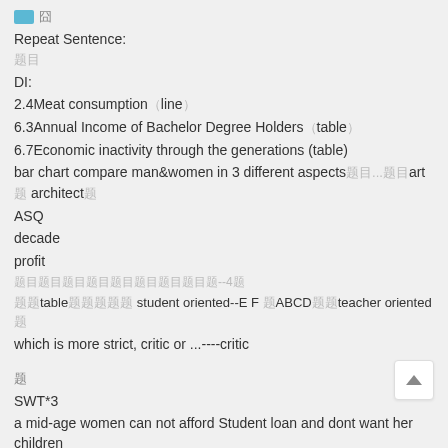🔵 囧
Repeat Sentence:
题目
DI:
2.4Meat consumption（line）
6.3Annual Income of Bachelor Degree Holders（table）
6.7Economic inactivity through the generations (table)
bar chart compare man&women in 3 different aspects题目...题目art题architect题
ASQ
decade
profit
题目题目题目题目题目题目题目题目题--4题
题题table题题题题题 student oriented--E F 题ABCD题题teacher oriented题
which is more strict, critic or ...----critic
题
SWT*3
a mid-age women can not afford Student loan and dont want her children
1.17 Nobel Peace Prize
Essay*1